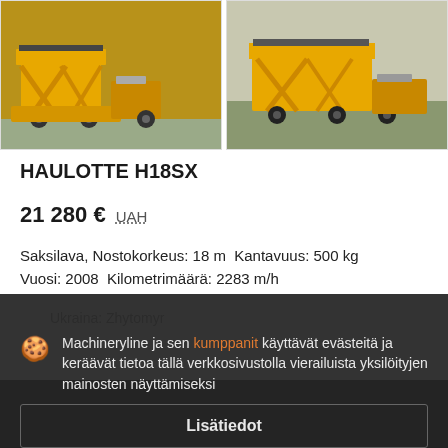[Figure (photo): Two yellow Haulotte H18SX scissor lift machines photographed from the side on a paved surface, side by side in a grid layout]
HAULOTTE H18SX
21 280 €  UAH
Saksilava, Nostokorkeus: 18 m  Kantavuus: 500 kg
Vuosi: 2008  Kilometrimäärä: 2283 m/h
Ukraina: Zhytomyr
Machineryline ja sen kumppanit käyttävät evästeitä ja keräävät tietoa tällä verkkosivustolla vierailuista yksilöityjen mainosten näyttämiseksi
Lisätiedot
Hyväksy ja sulje